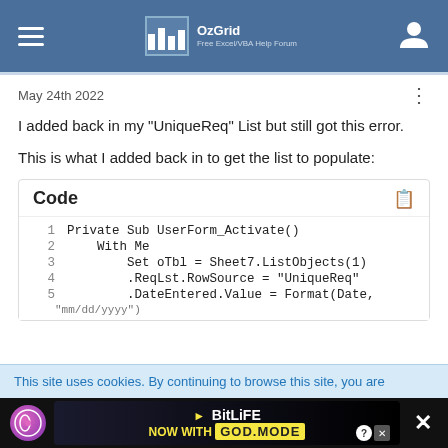OzGrid Free Excel/VBA Help Forum
May 24th 2022
I added back in my "UniqueReq" List but still got this error.
This is what I added back in to get the list to populate:
[Figure (screenshot): Code block showing VBA code with line numbers 1-5. Line 1: Private Sub UserForm_Activate(), Line 2: With Me, Line 3: Set oTbl = Sheet7.ListObjects(1), Line 4: .ReqLst.RowSource = "UniqueReq", Line 5: .DateEntered.Value = Format(Date, (truncated)]
This site uses cookies. By continuing to browse this site, you are
[Figure (photo): BitLife advertisement banner: BitLife NOW WITH GOD MODE with game logo and hand pointer icon]